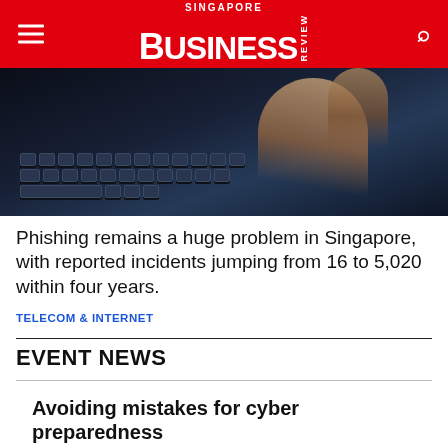Singapore Business Review
[Figure (photo): Dark photo of a hand typing on a keyboard, cybersecurity theme]
Phishing remains a huge problem in Singapore, with reported incidents jumping from 16 to 5,020 within four years.
TELECOM & INTERNET
EVENT NEWS
Avoiding mistakes for cyber preparedness
[Figure (photo): SBR Technology Excellence Awards 2022 banner with a person's portrait and a network background]